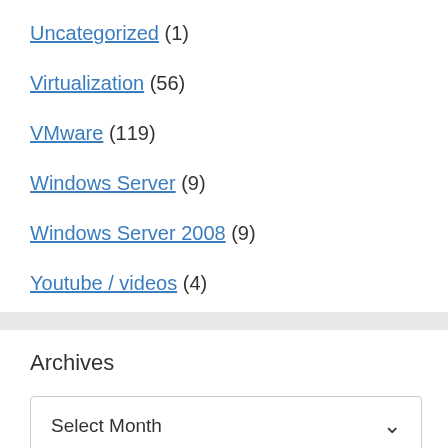Uncategorized (1)
Virtualization (56)
VMware (119)
Windows Server (9)
Windows Server 2008 (9)
Youtube / videos (4)
Archives
Select Month